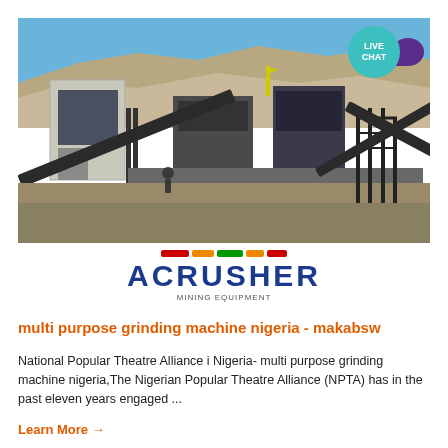[Figure (photo): Mining/crushing plant industrial facility with conveyor belts, machinery, and rocky terrain in the background. ACRUSHER logo overlay at bottom of image. Live Chat badge in top right corner.]
multi purpose grinding machine nigeria - makabsw
National Popular Theatre Alliance i Nigeria- multi purpose grinding machine nigeria,The Nigerian Popular Theatre Alliance (NPTA) has in the past eleven years engaged ...
Learn More →